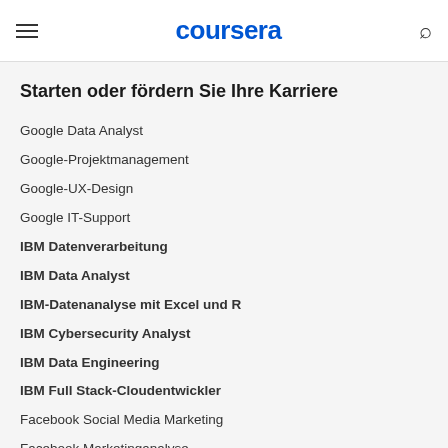coursera
Starten oder fördern Sie Ihre Karriere
Google Data Analyst
Google-Projektmanagement
Google-UX-Design
Google IT-Support
IBM Datenverarbeitung
IBM Data Analyst
IBM-Datenanalyse mit Excel und R
IBM Cybersecurity Analyst
IBM Data Engineering
IBM Full Stack-Cloudentwickler
Facebook Social Media Marketing
Facebook Marketinganalyse
Salesforce Sales Development Representative